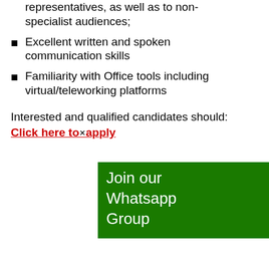representatives, as well as to non-specialist audiences;
Excellent written and spoken communication skills
Familiarity with Office tools including virtual/teleworking platforms
Interested and qualified candidates should:
Click here to apply
Join our Whatsapp Group